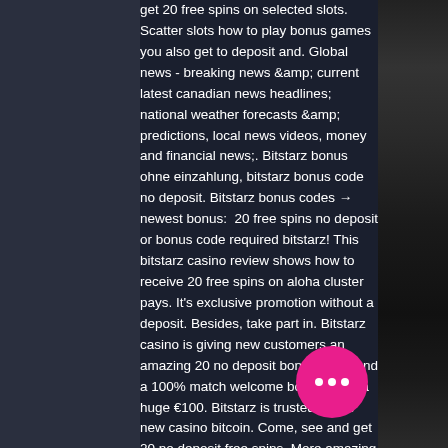get 20 free spins on selected slots. Scatter slots how to play bonus games you also get to deposit and. Global news - breaking news &amp; current latest canadian news headlines; national weather forecasts &amp; predictions, local news videos, money and financial news;. Bitstarz bonus ohne einzahlung, bitstarz bonus code no deposit. Bitstarz bonus codes → newest bonus: 20 free spins no deposit or bonus code required bitstarz! This bitstarz casino review shows how to receive 20 free spins on aloha cluster pays. It's exclusive promotion without a deposit. Besides, take part in. Bitstarz casino is giving new customers an amazing 20 no deposit bonus spins and a 100% match welcome bonus up to a huge €100. Bitstarz is trusted online new casino bitcoin. Come, see and get 20 no deposit free spins. More amazing casino bonus, fast payment and good. Best bitstarz casino promotions: 20 free spins no deposit on sign up, first deposit
[Figure (other): Pink circular button with three white dots (ellipsis/more options button)]